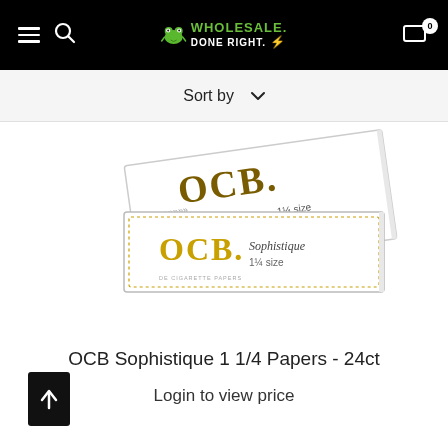Wholesale Done Right - Navigation header with hamburger menu, search, logo, and cart (0 items)
Sort by ∨
[Figure (photo): OCB Sophistique 1 1/4 size rolling papers product boxes - white packaging with gold OCB logo and ornate dotted border design]
OCB Sophistique 1 1/4 Papers - 24ct
Login to view price